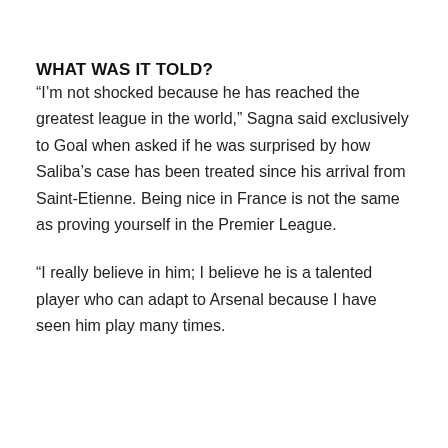WHAT WAS IT TOLD?
“I’m not shocked because he has reached the greatest league in the world,” Sagna said exclusively to Goal when asked if he was surprised by how Saliba’s case has been treated since his arrival from Saint-Etienne. Being nice in France is not the same as proving yourself in the Premier League.
“I really believe in him; I believe he is a talented player who can adapt to Arsenal because I have seen him play many times.